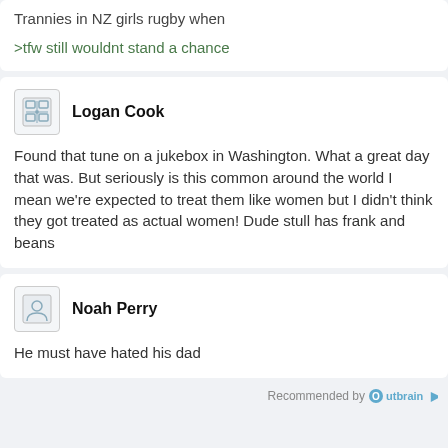Trannies in NZ girls rugby when
>tfw still wouldnt stand a chance
Logan Cook
Found that tune on a jukebox in Washington. What a great day that was. But seriously is this common around the world I mean we're expected to treat them like women but I didn't think they got treated as actual women! Dude stull has frank and beans
Noah Perry
He must have hated his dad
Recommended by Outbrain